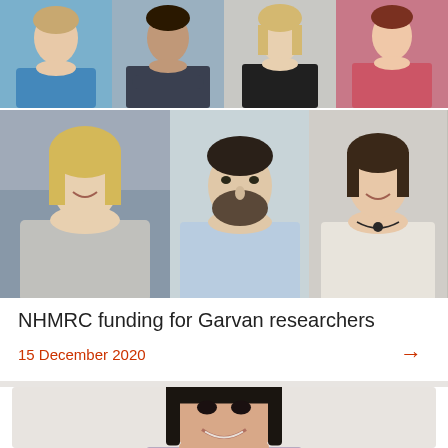[Figure (photo): Grid of researcher headshots: top row has 4 photos (man in blue polo, man in dark shirt with arms crossed, blonde woman in black, woman in pink/red top); second row has 3 photos (blonde woman in grey jacket, bearded man in light blue shirt, woman in white cardigan with necklace).]
NHMRC funding for Garvan researchers
15 December 2020
[Figure (photo): Headshot of an Asian woman with short dark hair and bangs, smiling, wearing a purple top, against a light grey background.]